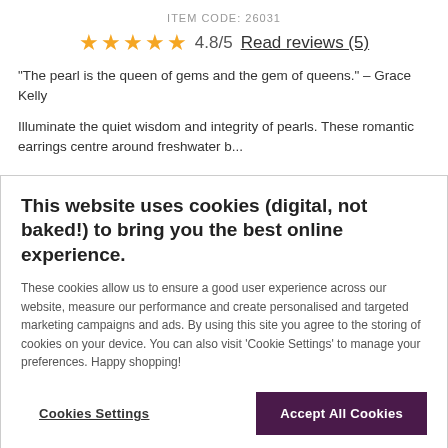ITEM CODE: 26031
★★★★★ 4.8/5  Read reviews (5)
“The pearl is the queen of gems and the gem of queens.” – Grace Kelly
Illuminate the quiet wisdom and integrity of pearls. These romantic earrings centre around freshwater b...
This website uses cookies (digital, not baked!) to bring you the best online experience.
These cookies allow us to ensure a good user experience across our website, measure our performance and create personalised and targeted marketing campaigns and ads. By using this site you agree to the storing of cookies on your device. You can also visit 'Cookie Settings' to manage your preferences. Happy shopping!
Cookies Settings
Accept All Cookies